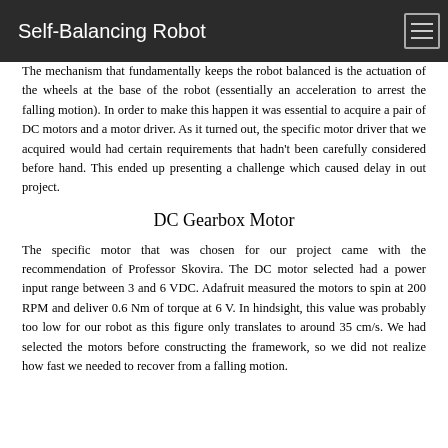Self-Balancing Robot
The mechanism that fundamentally keeps the robot balanced is the actuation of the wheels at the base of the robot (essentially an acceleration to arrest the falling motion). In order to make this happen it was essential to acquire a pair of DC motors and a motor driver. As it turned out, the specific motor driver that we acquired would had certain requirements that hadn't been carefully considered before hand. This ended up presenting a challenge which caused delay in out project.
DC Gearbox Motor
The specific motor that was chosen for our project came with the recommendation of Professor Skovira. The DC motor selected had a power input range between 3 and 6 VDC. Adafruit measured the motors to spin at 200 RPM and deliver 0.6 Nm of torque at 6 V. In hindsight, this value was probably too low for our robot as this figure only translates to around 35 cm/s. We had selected the motors before constructing the framework, so we did not realize how fast we needed to recover from a falling motion.